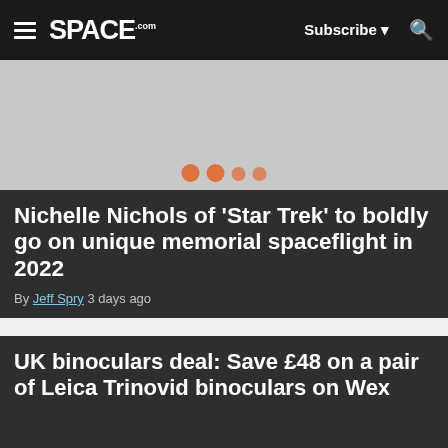SPACE.com — Subscribe — Search
[Figure (photo): Article thumbnail image for Nichelle Nichols Star Trek memorial spaceflight story, gray placeholder with orange dots overlay]
Nichelle Nichols of 'Star Trek' to boldly go on unique memorial spaceflight in 2022
By Jeff Spry 3 days ago
[Figure (photo): Article thumbnail image for UK binoculars deal, gray placeholder with dots overlay]
UK binoculars deal: Save £48 on a pair of Leica Trinovid binoculars on Wex